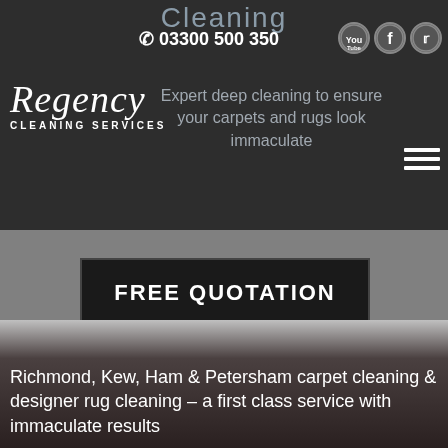Cleaning
☎ 03300 500 350
Expert deep cleaning to ensure your carpets and rugs look immaculate
[Figure (logo): Regency Cleaning Services logo in italic script with subtitle CLEANING SERVICES]
FREE QUOTATION
Richmond, Kew, Ham & Petersham carpet cleaning & designer rug cleaning – a first class service with immaculate results